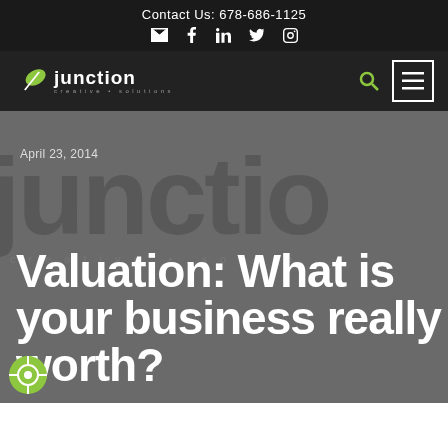Contact Us: 678-686-1125
[Figure (logo): Junction Creative Solutions logo with green leaf icon]
April 23, 2014
Valuation: What is your business really worth?
[Figure (logo): Green circular support/accessibility icon at bottom left]